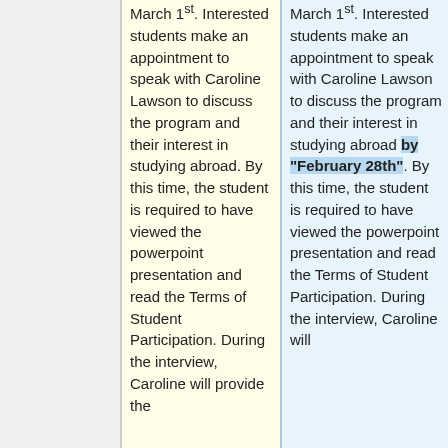March 1st. Interested students make an appointment to speak with Caroline Lawson to discuss the program and their interest in studying abroad. By this time, the student is required to have viewed the powerpoint presentation and read the Terms of Student Participation. During the interview, Caroline will provide the
March 1st. Interested students make an appointment to speak with Caroline Lawson to discuss the program and their interest in studying abroad by "February 28th". By this time, the student is required to have viewed the powerpoint presentation and read the Terms of Student Participation. During the interview, Caroline will